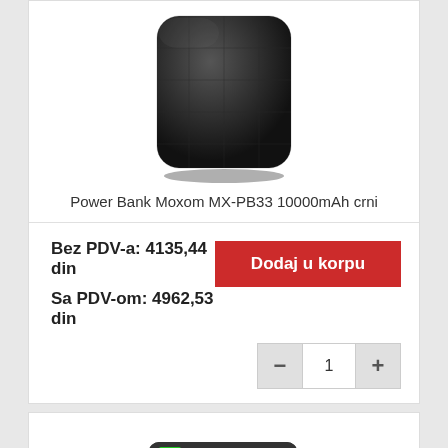[Figure (photo): Black Power Bank Moxom MX-PB33, top portion of product card]
Power Bank Moxom MX-PB33 10000mAh crni
Bez PDV-a: 4135,44 din
Sa PDV-om: 4962,53 din
Dodaj u korpu
1
[Figure (photo): Black Power Bank with LCD display showing 100% and PD 20CP, partially visible in bottom product card]